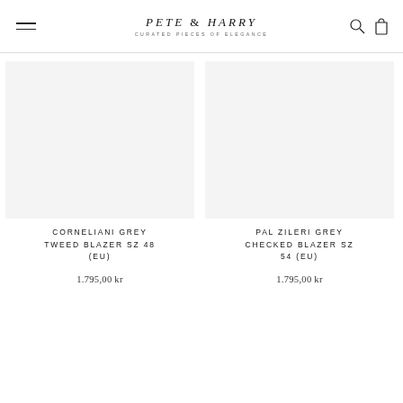Pete & Harry — Curated Pieces of Elegance
[Figure (photo): Product image area for Corneliani Grey Tweed Blazer (blank/white background)]
CORNELIANI GREY TWEED BLAZER SZ 48 (EU)
1.795,00 kr
[Figure (photo): Product image area for Pal Zileri Grey Checked Blazer (blank/white background)]
PAL ZILERI GREY CHECKED BLAZER SZ 54 (EU)
1.795,00 kr